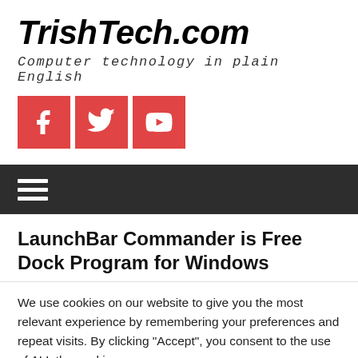TrishTech.com
Computer technology in plain English
[Figure (other): Social media icons: Facebook, Twitter, YouTube — red square buttons with white icons]
[Figure (other): Navigation bar hamburger menu (three horizontal lines) on dark background]
LaunchBar Commander is Free Dock Program for Windows
We use cookies on our website to give you the most relevant experience by remembering your preferences and repeat visits. By clicking “Accept”, you consent to the use of ALL the cookies.
Do not sell my personal information.